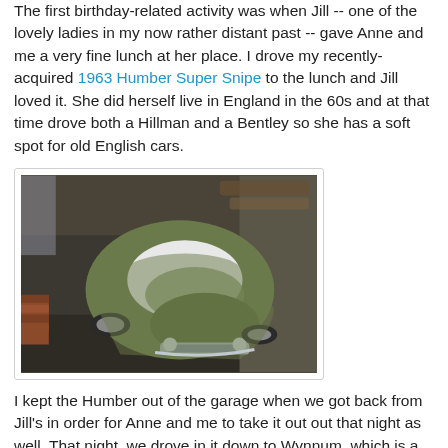The first birthday-related activity was when Jill -- one of the lovely ladies in my now rather distant past -- gave Anne and me a very fine lunch at her place. I drove my recently-acquired 1963 Humber Super Snipe to the lunch and Jill loved it. She did herself live in England in the 60s and at that time drove both a Hillman and a Bentley so she has a soft spot for old English cars.
[Figure (photo): Aerial/top-down view of a 1963 Humber Super Snipe car, green body with white roof, parked on a dark surface, viewed from above and slightly to the front-right.]
I kept the Humber out of the garage when we got back from Jill's in order for Anne and me to take it out out that night as well. That night, we drove in it down to Wynnum, which is a seaside area of Brisbane. We had fish and chips on the